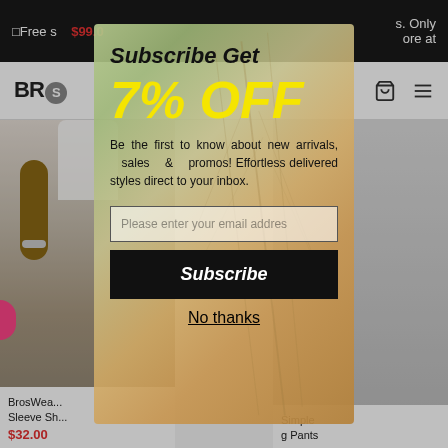Free s... $99.0... Only ...ore at
BROS (logo)
[Figure (photo): Person wearing white t-shirt, holding arm down with bracelet visible]
BrosWea... Sleeve Sh... $32.00
Simple ...g Pants
Subscribe Get
7% OFF
Be the first to know about new arrivals, sales & promos! Effortless delivered styles direct to your inbox.
Please enter your email addres
Subscribe
No thanks